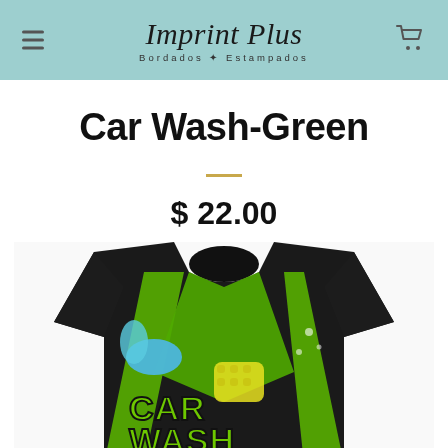Imprint Plus – Bordados ✦ Estampados
Car Wash-Green
$ 22.00
[Figure (photo): A black sublimation t-shirt with a green and dark Car Wash Detailing graphic design, featuring illustrated water splashes, a sponge, and the text 'Car Wash Detailing' in large stylized letters.]